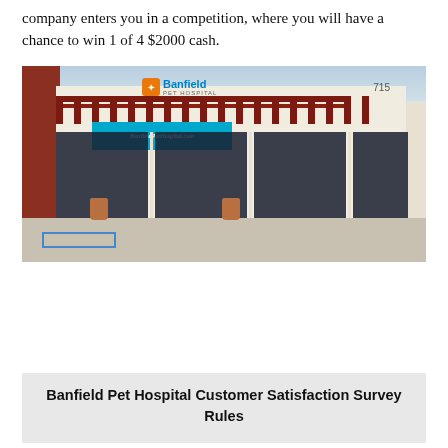company enters you in a competition, where you will have a chance to win 1 of 4 $2000 cash.
[Figure (photo): Exterior photo of a Banfield Pet Hospital storefront with number 715, showing the building facade with a red pergola structure, large dark windows, a teal banner, potted plants, and a parking lot in the foreground.]
Banfield Pet Hospital Customer Satisfaction Survey Rules